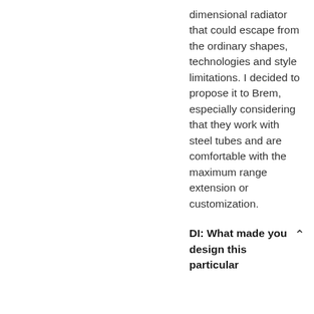dimensional radiator that could escape from the ordinary shapes, technologies and style limitations. I decided to propose it to Brem, especially considering that they work with steel tubes and are comfortable with the maximum range extension or customization.
DI: What made you design this particular